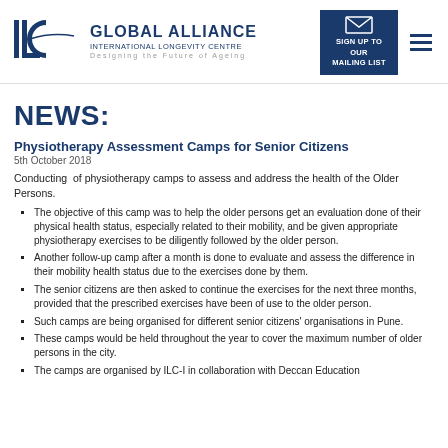ILC GLOBAL ALLIANCE INTERNATIONAL LONGEVITY CENTRE — Designing the Future of Ageing — SIGN UP TO OUR MAILING LIST
NEWS:
Physiotherapy Assessment Camps for Senior Citizens
5th October 2018
Conducting of physiotherapy camps to assess and address the health of the Older Persons.
The objective of this camp was to help the older persons get an evaluation done of their physical health status, especially related to their mobility, and be given appropriate physiotherapy exercises to be diligently followed by the older person.
Another follow-up camp after a month is done to evaluate and assess the difference in their mobility health status due to the exercises done by them.
The senior citizens are then asked to continue the exercises for the next three months, provided that the prescribed exercises have been of use to the older person.
Such camps are being organised for different senior citizens' organisations in Pune.
These camps would be held throughout the year to cover the maximum number of older persons in the city.
The camps are organised by ILC-I in collaboration with Deccan Education Society's Balalji Institute of Physiotherapy.